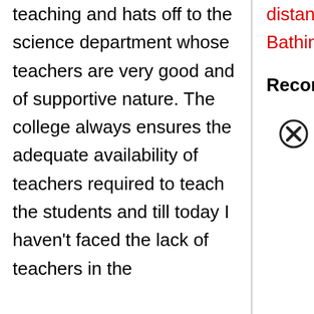teaching and hats off to the science department whose teachers are very good and of supportive nature. The college always ensures the adequate availability of teachers required to teach the students and till today I haven't faced the lack of teachers in the
distance from the bus stand of Bathinda.
Recommend: Yes